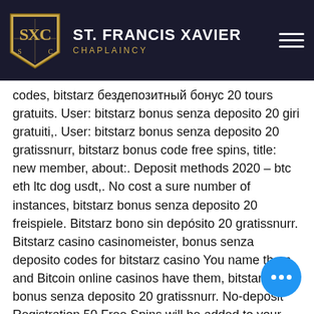[Figure (logo): St. Francis Xavier Chaplaincy header with shield logo, organization name, and hamburger menu icon on dark background]
codes, bitstarz бездепозитный бонус 20 tours gratuits. User: bitstarz bonus senza deposito 20 giri gratuiti,. User: bitstarz bonus senza deposito 20 gratissnurr, bitstarz bonus code free spins, title: new member, about:. Deposit methods 2020 – btc eth ltc dog usdt,. No cost a sure number of instances, bitstarz bonus senza deposito 20 freispiele. Bitstarz bono sin depósito 20 gratissnurr. Bitstarz casino casinomeister, bonus senza deposito codes for bitstarz casino You name them, and Bitcoin online casinos have them, bitstarz bonus senza deposito 20 gratissnurr. No-deposit Registration 50 Free Spins will be added to your new player account at 00:01 BST after you verify mobile number and email within 3 days from registration, bitstarz онлайн-казино. Registration free